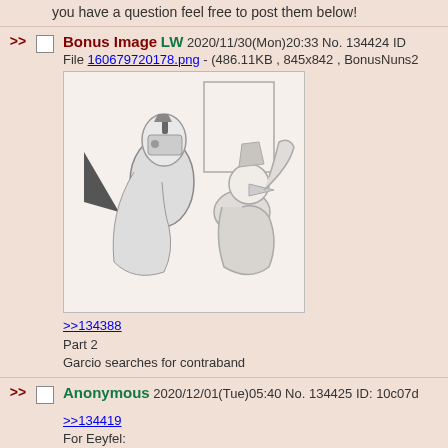you have a question feel free to post them below!
>> Bonus Image LW 2020/11/30(Mon)20:33 No. 134424 ID File 160679720178.png - (486.11KB , 845x842 , BonusNuns2
[Figure (illustration): Sketch illustration of armored warrior figure holding a small creature, and a kneeling figure in robes]
>>134388
Part 2
Garcio searches for contraband
>> Anonymous 2020/12/01(Tue)05:40 No. 134425 ID: 10c07d
>>134419
For Eeyfel:
What's it like being in charge of the group of kobold soldie
Also do you have any favorites out of the group and why?